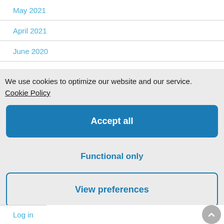May 2021
April 2021
June 2020
We use cookies to optimize our website and our service.
Cookie Policy
Accept all
Functional only
View preferences
Log in